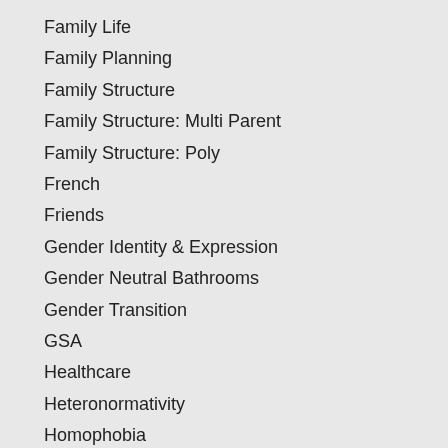Family Life
Family Planning
Family Structure
Family Structure: Multi Parent
Family Structure: Poly
French
Friends
Gender Identity & Expression
Gender Neutral Bathrooms
Gender Transition
GSA
Healthcare
Heteronormativity
Homophobia
Human Rights
Identity
Identity: Names & Pronouns
Identity: Non Binary
Identity: Trans